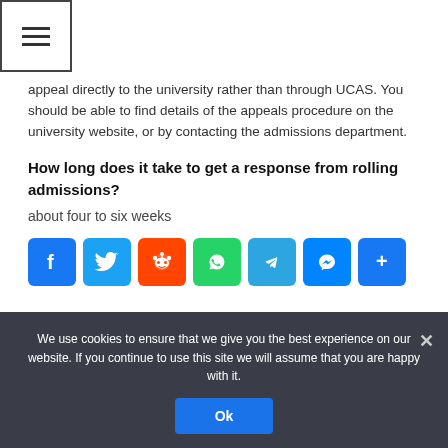appeal directly to the university rather than through UCAS. You should be able to find details of the appeals procedure on the university website, or by contacting the admissions department.
How long does it take to get a response from rolling admissions?
about four to six weeks
[Figure (other): Social share buttons row: Facebook, Twitter, Reddit, WhatsApp, Telegram, Messenger, Share]
We use cookies to ensure that we give you the best experience on our website. If you continue to use this site we will assume that you are happy with it.